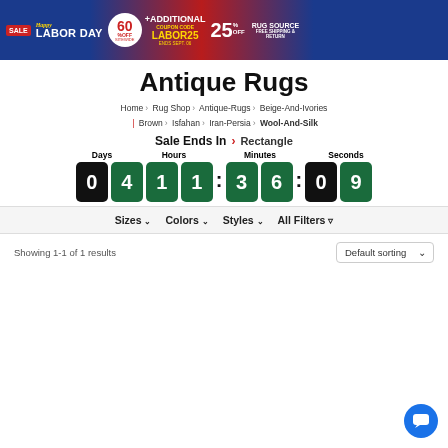[Figure (illustration): Happy Labor Day sale banner: 60% off sitewide + additional 25% off with coupon code LABOR25, ends Sept. 06, free shipping & return. Rug Source branding.]
Antique Rugs
Home > Rug Shop > Antique-Rugs > Beige-And-Ivories | Brown > Isfahan > Iran-Persia > Wool-And-Silk
Sale Ends In > Rectangle
[Figure (infographic): Countdown timer showing 04 days, 11 hours, 36 minutes, 09 seconds with dark and green flip-clock style digit tiles.]
Sizes ∨  Colors ∨  Styles ∨  All Filters
Showing 1-1 of 1 results   Default sorting ∨